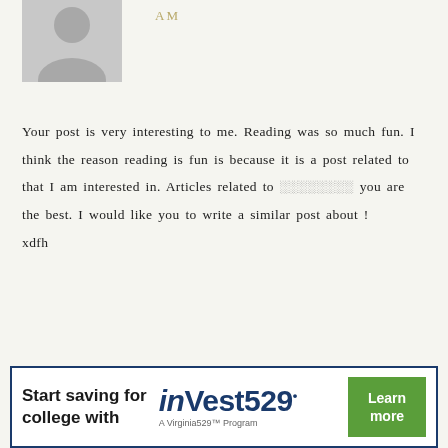[Figure (photo): Gray silhouette avatar placeholder image]
AM
Your post is very interesting to me. Reading was so much fun. I think the reason reading is fun is because it is a post related to that I am interested in. Articles related to ░░░░░░░░ you are the best. I would like you to write a similar post about !
xdfh
Reply
[Figure (infographic): Advertisement banner: Start saving for college with inVest529 - A Virginia529 Program. Learn more button.]